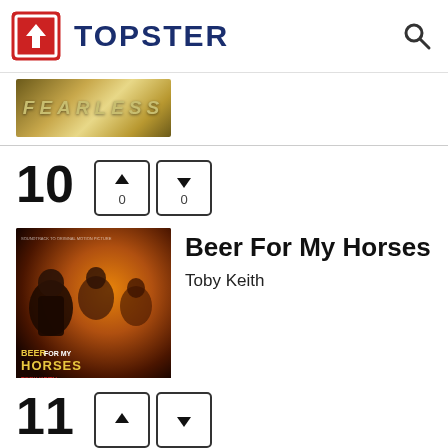[Figure (logo): Topster app logo with red square upload icon and navy blue TOPSTER text, plus a search magnifying glass icon]
[Figure (screenshot): Partial album cover showing FEARLESS text in gold/metallic styling]
10
[Figure (illustration): Up and down vote arrow buttons each showing count of 0]
[Figure (photo): Beer For My Horses movie soundtrack album cover with soldiers and orange dramatic lighting]
Beer For My Horses
Toby Keith
11
[Figure (illustration): Up and down vote arrow buttons (partially visible)]